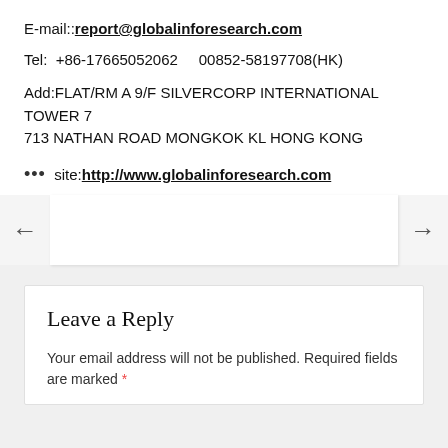E-mail:: report@globalinforesearch.com
Tel:  +86-17665052062     00852-58197708(HK)
Add:FLAT/RM A 9/F SILVERCORP INTERNATIONAL TOWER 7 713 NATHAN ROAD MONGKOK KL HONG KONG
... site: http://www.globalinforesearch.com
Leave a Reply
Your email address will not be published. Required fields are marked *